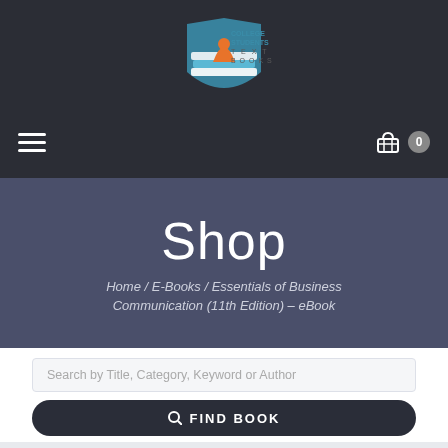[Figure (logo): College Students Textbooks logo: stacked books with figure on top, teal and orange, text reads COLLEGE STUDENTS TEXT BOOKS]
≡   🛒 0
Shop
Home / E-Books / Essentials of Business Communication (11th Edition) – eBook
Search by Title, Category, Keyword or Author
FIND BOOK